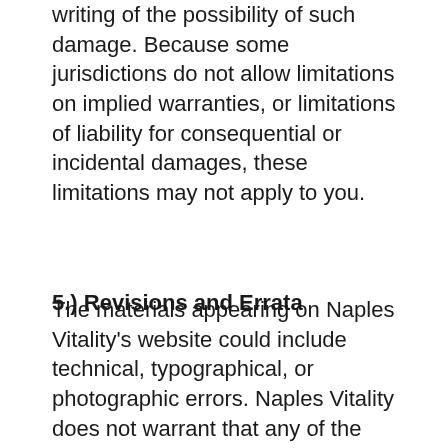writing of the possibility of such damage. Because some jurisdictions do not allow limitations on implied warranties, or limitations of liability for consequential or incidental damages, these limitations may not apply to you.
5.) Revisions and Errata
The materials appearing on Naples Vitality's website could include technical, typographical, or photographic errors. Naples Vitality does not warrant that any of the materials on its